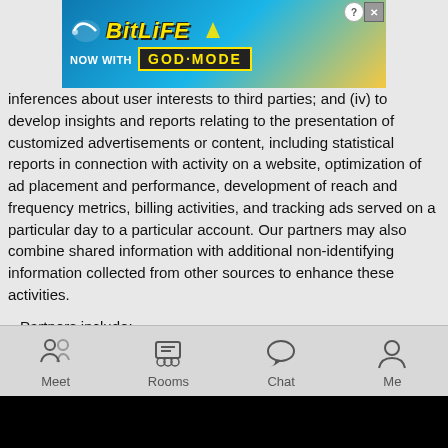[Figure (screenshot): BitLife app advertisement banner showing 'NOW WITH GOD MODE' text on blue/yellow background]
inferences about user interests to third parties; and (iv) to develop insights and reports relating to the presentation of customized advertisements or content, including statistical reports in connection with activity on a website, optimization of ad placement and performance, development of reach and frequency metrics, billing activities, and tracking ads served on a particular day to a particular account. Our partners may also combine shared information with additional non-identifying information collected from other sources to enhance these activities.
Partners include:
TrueData
Personal Information. Except for "Cooperation with Law Enforcement," "Business Transfers" and "Service Providers" (all described above), in connection with account verification (and then only for that purpose), or to enforce our rights under this
[Figure (screenshot): Mobile app bottom navigation bar with Meet, Rooms, Chat, Me icons]